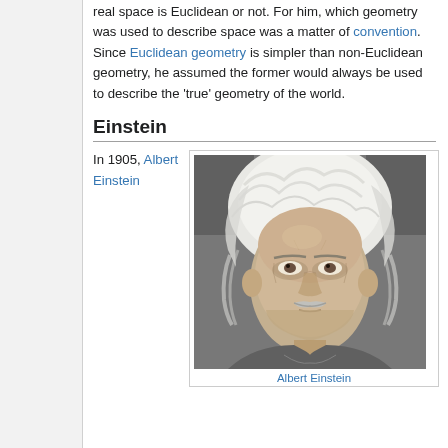real space is Euclidean or not. For him, which geometry was used to describe space was a matter of convention. Since Euclidean geometry is simpler than non-Euclidean geometry, he assumed the former would always be used to describe the 'true' geometry of the world.
Einstein
In 1905, Albert Einstein
[Figure (photo): Black and white portrait photograph of Albert Einstein, showing his distinctive wild white hair and mustache, looking slightly to the side with a serious expression.]
Albert Einstein